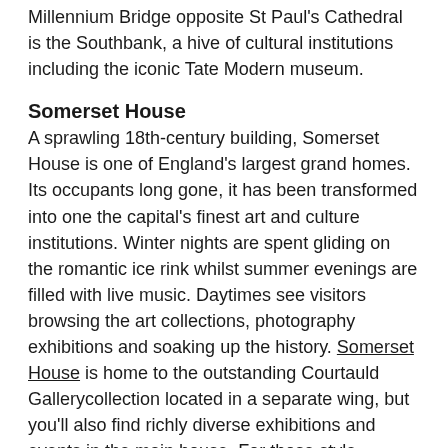Millennium Bridge opposite St Paul's Cathedral is the Southbank, a hive of cultural institutions including the iconic Tate Modern museum.
Somerset House
A sprawling 18th-century building, Somerset House is one of England's largest grand homes. Its occupants long gone, it has been transformed into one the capital's finest art and culture institutions. Winter nights are spent gliding on the romantic ice rink whilst summer evenings are filled with live music. Daytimes see visitors browsing the art collections, photography exhibitions and soaking up the history. Somerset House is home to the outstanding Courtauld Gallerycollection located in a separate wing, but you'll also find richly diverse exhibitions and events in the main house. For those style mavens, this is where London Fashion Week and sample sales are held, showcasing the capital's most edgy young